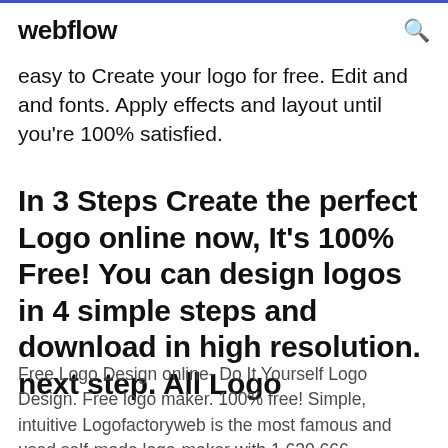webflow
easy to Create your logo for free. Edit and and fonts. Apply effects and layout until you're 100% satisfied.
In 3 Steps Create the perfect Logo online now, It's 100% Free! You can design logos in 4 simple steps and download in high resolution. next step. All Logo
Free Logo Design online- Do It Yourself Logo Design. Free logo maker. 100% free! Simple, intuitive Logofactoryweb is the most famous and used self-made logo-maker with 1,630,666